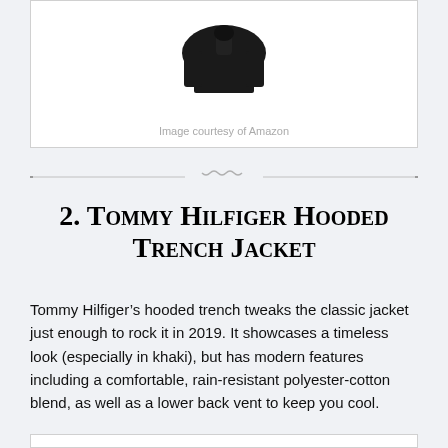[Figure (photo): Partial view of a black jacket at the top of a white bordered box]
Image courtesy of Amazon
2. Tommy Hilfiger Hooded Trench Jacket
Tommy Hilfiger’s hooded trench tweaks the classic jacket just enough to rock it in 2019. It showcases a timeless look (especially in khaki), but has modern features including a comfortable, rain-resistant polyester-cotton blend, as well as a lower back vent to keep you cool.